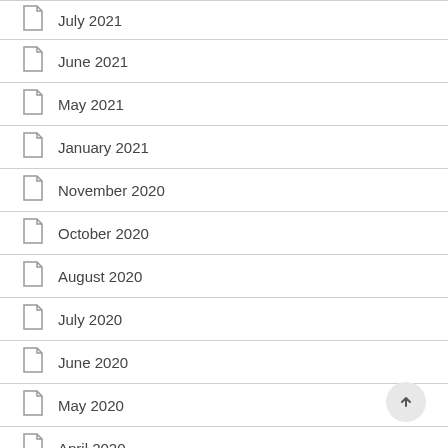July 2021
June 2021
May 2021
January 2021
November 2020
October 2020
August 2020
July 2020
June 2020
May 2020
April 2020
March 2020
February 2020